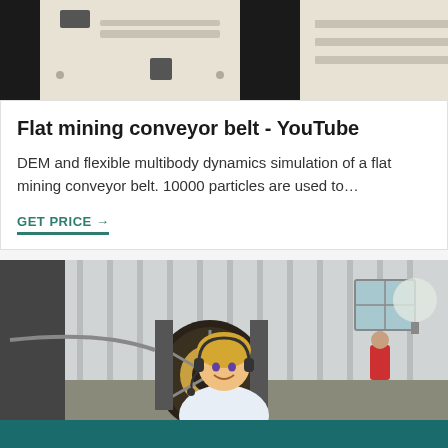[Figure (photo): Industrial machinery equipment - top portion of conveyor/crusher machines in beige/cream color]
Flat mining conveyor belt - YouTube
DEM and flexible multibody dynamics simulation of a flat mining conveyor belt. 10000 particles are used to…
GET PRICE →
[Figure (photo): Industrial factory setting with large mining winch/reel equipment, corrugated metal warehouse wall, worker in red shirt visible, customer service representative overlay at bottom]
Get Quotation   Online Chat